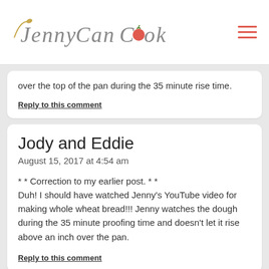Jenny Can Cook
over the top of the pan during the 35 minute rise time.
Reply to this comment
Jody and Eddie
August 15, 2017 at 4:54 am
* * Correction to my earlier post. * *
Duh! I should have watched Jenny's YouTube video for making whole wheat bread!!! Jenny watches the dough during the 35 minute proofing time and doesn't let it rise above an inch over the pan.
Reply to this comment